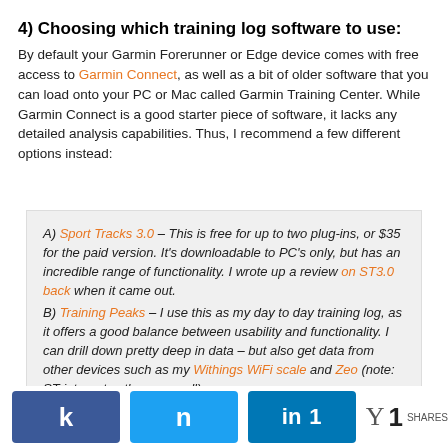4) Choosing which training log software to use:
By default your Garmin Forerunner or Edge device comes with free access to Garmin Connect, as well as a bit of older software that you can load onto your PC or Mac called Garmin Training Center. While Garmin Connect is a good starter piece of software, it lacks any detailed analysis capabilities. Thus, I recommend a few different options instead:
A) Sport Tracks 3.0 – This is free for up to two plug-ins, or $35 for the paid version. It's downloadable to PC's only, but has an incredible range of functionality. I wrote up a review on ST3.0 back when it came out.
B) Training Peaks – I use this as my day to day training log, as it offers a good balance between usability and functionality. I can drill down pretty deep in data – but also get data from other devices such as my Withings WiFi scale and Zeo (note: ST integrates there as well).
C) Golden Cheetah – This free application is primarily targeted at cyclists, and ideal for the Edge devices. It'll
k  n  in 1  SHARES  Y 1